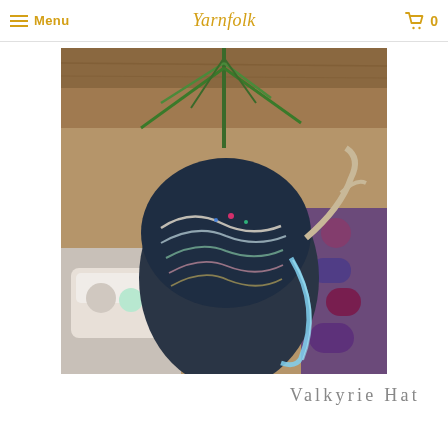Menu | Yarnfolk | 0
[Figure (photo): A dark navy knitted hat with colorful multicolored strand details displayed on a decorative antler/skull mannequin head in a yarn shop setting. Background shows plants, yarn skeins, and wooden ceiling.]
Valkyrie Hat